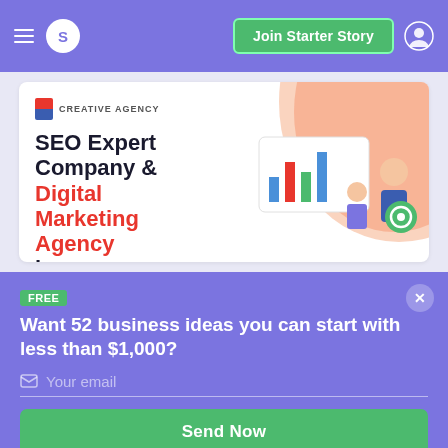[Figure (screenshot): Navigation bar with hamburger menu, S avatar, Join Starter Story green button, user icon on purple background]
[Figure (screenshot): Advertisement card for SEO Expert Company & Digital Marketing Agency creative agency, with illustration of dashboard and people]
FREE
Want 52 business ideas you can start with less than $1,000?
Your email
Send Now